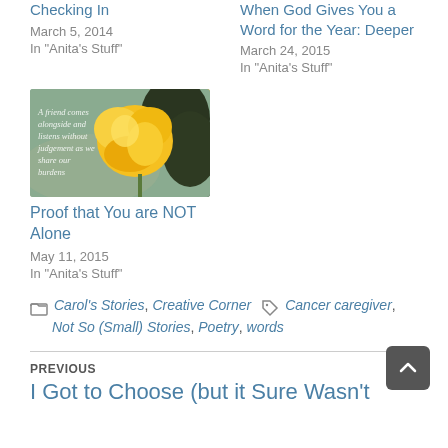Checking In
March 5, 2014
In "Anita's Stuff"
When God Gives You a Word for the Year: Deeper
March 24, 2015
In "Anita's Stuff"
[Figure (photo): Photo of a yellow rose with cursive text overlay reading: A friend comes alongside and listens without judgement as we share our burdens]
Proof that You are NOT Alone
May 11, 2015
In "Anita's Stuff"
Carol's Stories, Creative Corner  Cancer caregiver, Not So (Small) Stories, Poetry, words
PREVIOUS
I Got to Choose (but it Sure Wasn't Easy)